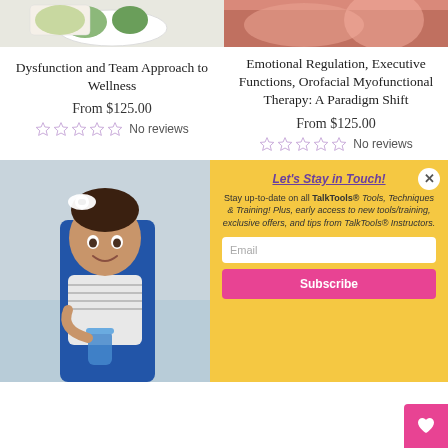[Figure (photo): Top left: food bowl with salad/greens on white marble background]
[Figure (photo): Top right: person with salmon/pink colored item, warm tones]
Dysfunction and Team Approach to Wellness
From $125.00
No reviews
Emotional Regulation, Executive Functions, Orofacial Myofunctional Therapy: A Paradigm Shift
From $125.00
No reviews
[Figure (photo): Baby/toddler girl with white bow in hair sitting in blue high chair, holding a cup, smiling at camera]
Let's Stay in Touch!
Stay up-to-date on all TalkTools® Tools, Techniques & Training! Plus, early access to new tools/training, exclusive offers, and tips from TalkTools® Instructors.